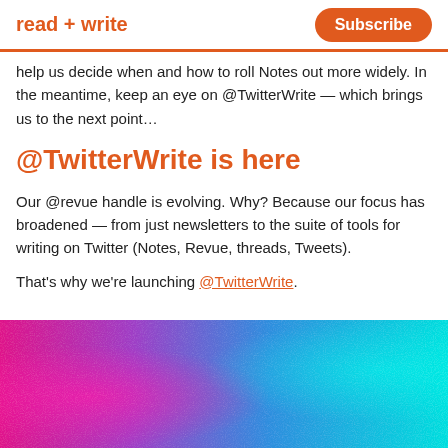read + write  Subscribe
help us decide when and how to roll Notes out more widely. In the meantime, keep an eye on @TwitterWrite — which brings us to the next point…
@TwitterWrite is here
Our @revue handle is evolving. Why? Because our focus has broadened — from just newsletters to the suite of tools for writing on Twitter (Notes, Revue, threads, Tweets).
That's why we're launching @TwitterWrite.
[Figure (photo): Colorful abstract gradient image with pink, purple, blue, and cyan colors blending together with a spray-paint or powder effect]